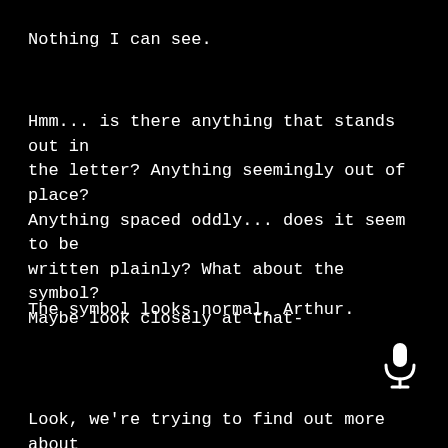Nothing I can see.
Hmm... is there anything that stands out in the letter? Anything seemingly out of place? Anything spaced oddly... does it seem to be written plainly? What about the symbol? Maybe look closely at that-
The symbol looks normal, Arthur.
[Figure (illustration): White microphone icon on black background]
Look, we're trying to find out more about